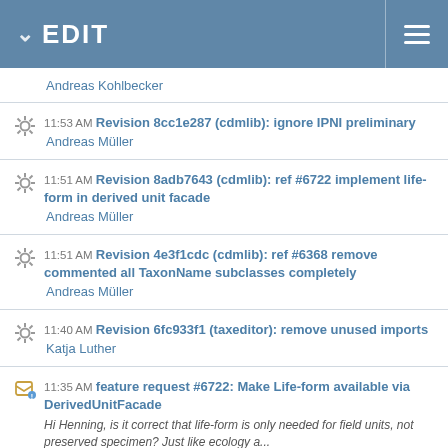EDIT
Andreas Kohlbecker
11:53 AM Revision 8cc1e287 (cdmlib): ignore IPNI preliminary
Andreas Müller
11:51 AM Revision 8adb7643 (cdmlib): ref #6722 implement life-form in derived unit facade
Andreas Müller
11:51 AM Revision 4e3f1cdc (cdmlib): ref #6368 remove commented all TaxonName subclasses completely
Andreas Müller
11:40 AM Revision 6fc933f1 (taxeditor): remove unused imports
Katja Luther
11:35 AM feature request #6722: Make Life-form available via DerivedUnitFacade
Hi Henning, is it correct that life-form is only needed for field units, not preserved specimen? Just like ecology a...
Andreas Müller
11:34 AM feature request #6722: Make Life-form